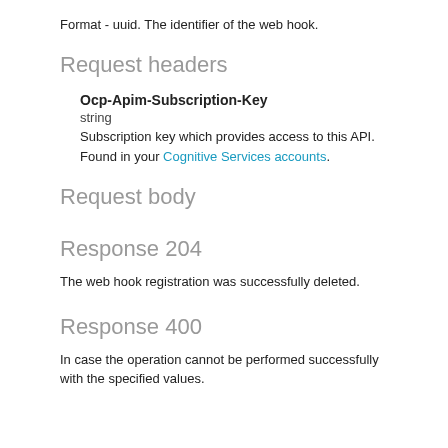Format - uuid. The identifier of the web hook.
Request headers
Ocp-Apim-Subscription-Key
string
Subscription key which provides access to this API. Found in your Cognitive Services accounts.
Request body
Response 204
The web hook registration was successfully deleted.
Response 400
In case the operation cannot be performed successfully with the specified values.